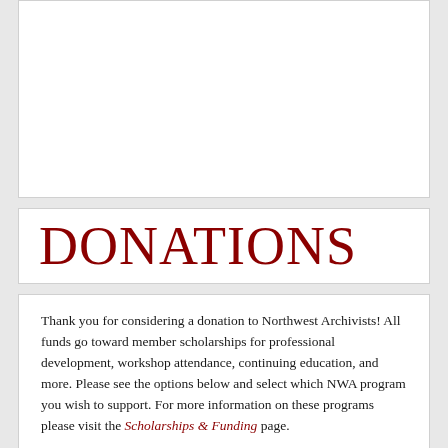[Figure (other): White blank top panel area]
DONATIONS
Thank you for considering a donation to Northwest Archivists! All funds go toward member scholarships for professional development, workshop attendance, continuing education, and more. Please see the options below and select which NWA program you wish to support. For more information on these programs please visit the Scholarships & Funding page.